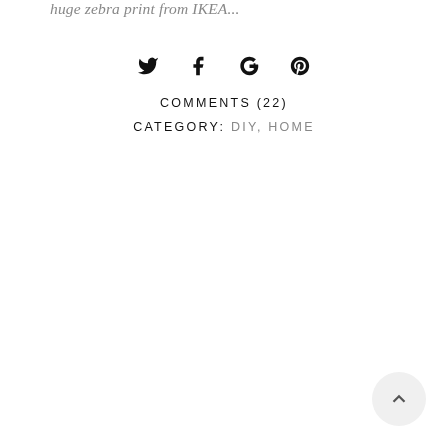huge zebra print from IKEA...
[Figure (other): Social sharing icons: Twitter, Facebook, Google+, Pinterest]
COMMENTS (22)
CATEGORY: DIY, HOME